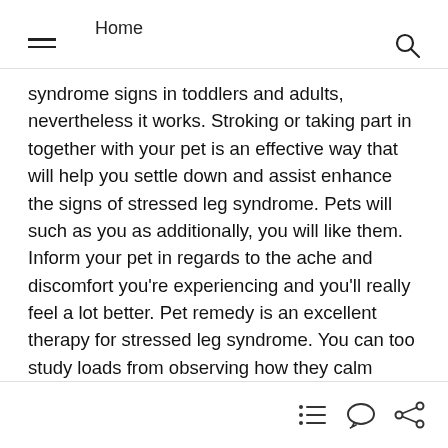Home
syndrome signs in toddlers and adults, nevertheless it works. Stroking or taking part in together with your pet is an effective way that will help you settle down and assist enhance the signs of stressed leg syndrome. Pets will such as you as additionally, you will like them. Inform your pet in regards to the ache and discomfort you’re experiencing and you’ll really feel a lot better. Pet remedy is an excellent therapy for stressed leg syndrome. You can too study loads from observing how they calm down (observe that animals don’t carry emotions of guilt)!